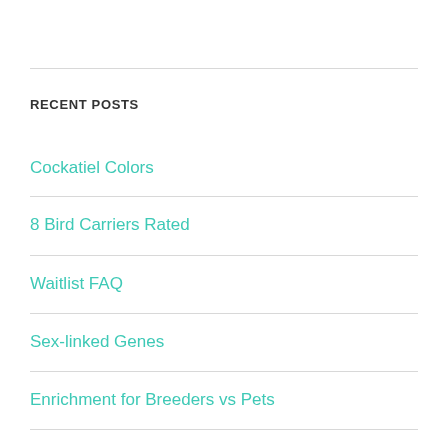RECENT POSTS
Cockatiel Colors
8 Bird Carriers Rated
Waitlist FAQ
Sex-linked Genes
Enrichment for Breeders vs Pets